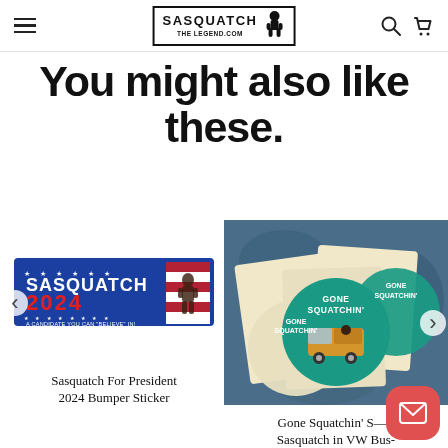SASQUATCH THE LEGEND.COM
You might also like these.
[Figure (photo): Sasquatch For President 2024 bumper sticker — blue background with 'SASQUATCH 2024' in white and red text, stars, American flag motif and Bigfoot silhouette, text 'A CANDIDATE YOU CAN BELIEVE IN!']
Sasquatch For President 2024 Bumper Sticker
[Figure (photo): Multiple 'Gone Squatchin' round stickers showing a Bigfoot/Sasquatch figure in a VW bus, teal and cream colors, on a blue textured background]
Gone Squatchin' S— - Sasquatch in VW Bus-